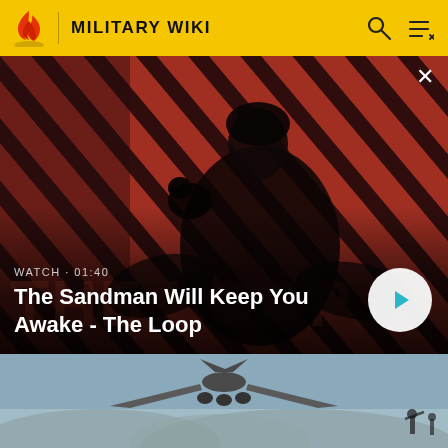MILITARY WIKI
[Figure (screenshot): Promotional video banner for 'The Sandman Will Keep You Awake - The Loop' showing a figure in dark clothing with a raven on shoulder against a red diagonal stripe background. Includes WATCH · 01:40 label and a circular play button.]
[Figure (photo): Screenshot of a military/war video game or film showing an airplane flying low over misty mountainous terrain with a soldier figure visible on the ground.]